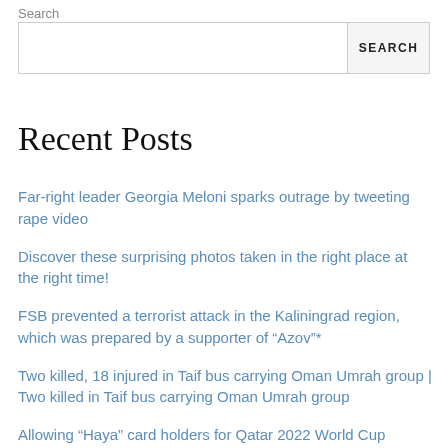Search
[Figure (other): Search input box with SEARCH button]
Recent Posts
Far-right leader Georgia Meloni sparks outrage by tweeting rape video
Discover these surprising photos taken in the right place at the right time!
FSB prevented a terrorist attack in the Kaliningrad region, which was prepared by a supporter of “Azov”*
Two killed, 18 injured in Taif bus carrying Oman Umrah group | Two killed in Taif bus carrying Oman Umrah group
Allowing “Haya” card holders for Qatar 2022 World Cup